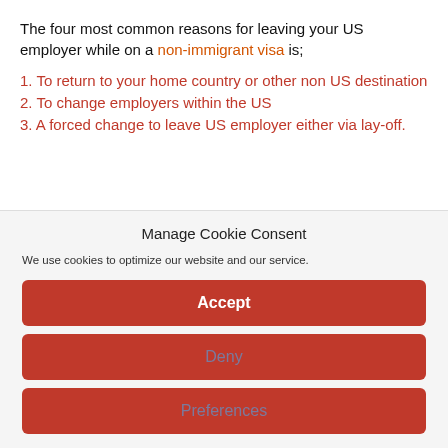The four most common reasons for leaving your US employer while on a non-immigrant visa is;
1. To return to your home country or other non US destination
2. To change employers within the US
3. A forced change to leave US employer either via lay-off.
Manage Cookie Consent
We use cookies to optimize our website and our service.